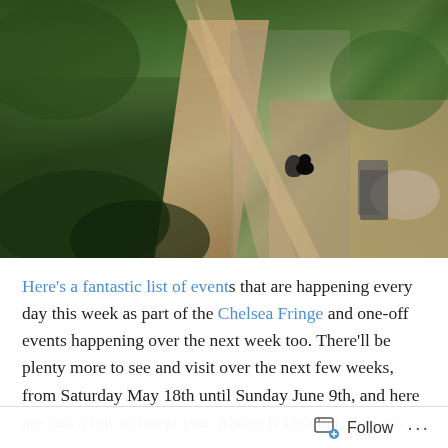[Figure (photo): Aerial view of a lush garden with a wooden walkway/boardwalk running diagonally, dense green plants and ferns on both sides, a black cat visible on the right side patio area, and outdoor furniture (table and chair) in the upper right corner.]
Here's a fantastic list of events that are happening every day this week as part of the Chelsea Fringe and one-off events happening over the next week too. There'll be plenty more to see and visit over the next few weeks, from Saturday May 18th until Sunday June 9th, and here are just a few to tempt you. Above is Deborah Nagan's